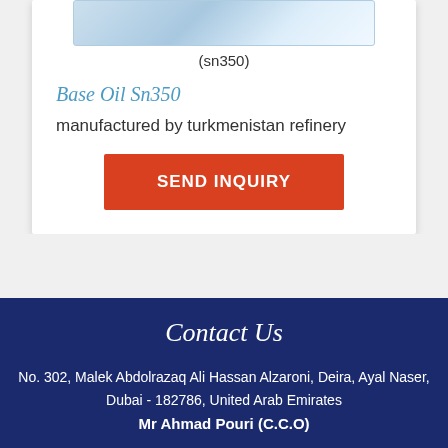[Figure (photo): Product image of base oil container (sn350)]
(sn350)
Base Oil Sn350
manufactured by turkmenistan refinery
SEND INQUIRY
Contact Us
No. 302, Malek Abdolrazaq Ali Hassan Alzaroni, Deira, Ayal Naser, Dubai - 182786, United Arab Emirates
Mr Ahmad Pouri (C.C.O)